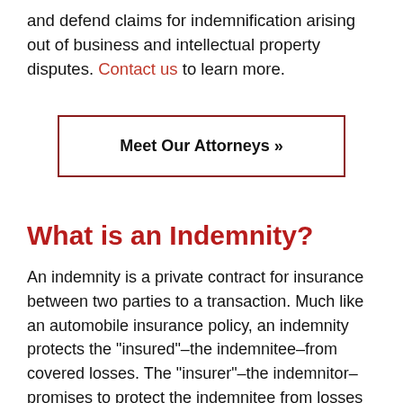and defend claims for indemnification arising out of business and intellectual property disputes. Contact us to learn more.
Meet Our Attorneys »
What is an Indemnity?
An indemnity is a private contract for insurance between two parties to a transaction. Much like an automobile insurance policy, an indemnity protects the "insured"–the indemnitee–from covered losses. The "insurer"–the indemnitor–promises to protect the indemnitee from losses sustained as a result of some